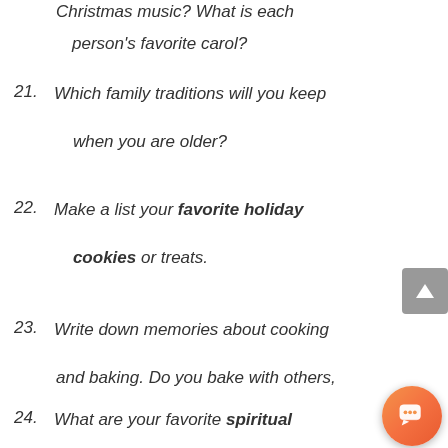Christmas music? What is each person's favorite carol?
21. Which family traditions will you keep when you are older?
22. Make a list your favorite holiday cookies or treats.
23. Write down memories about cooking and baking. Do you bake with others, or do you like to bake alone?
24. What are your favorite spiritual Christmas traditions?